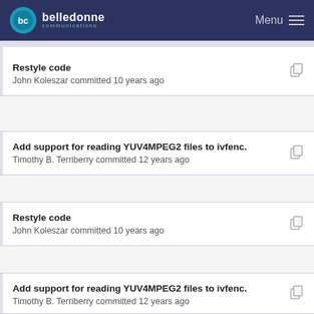belledonne communications — Menu
Restyle code
John Koleszar committed 10 years ago
Add support for reading YUV4MPEG2 files to ivfenc.
Timothy B. Terriberry committed 12 years ago
Restyle code
John Koleszar committed 10 years ago
Add support for reading YUV4MPEG2 files to ivfenc.
Timothy B. Terriberry committed 12 years ago